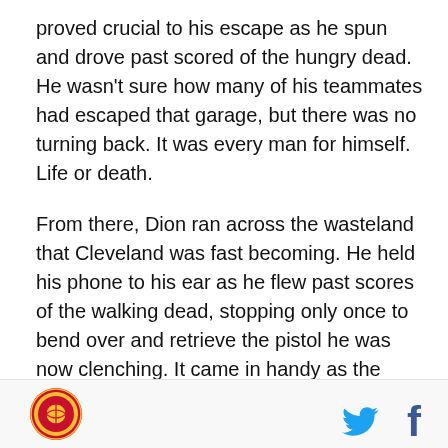proved crucial to his escape as he spun and drove past scored of the hungry dead. He wasn't sure how many of his teammates had escaped that garage, but there was no turning back. It was every man for himself. Life or death.
From there, Dion ran across the wasteland that Cleveland was fast becoming. He held his phone to his ear as he flew past scores of the walking dead, stopping only once to bend over and retrieve the pistol he was now clenching. It came in handy as the swarm of zombies was sometimes too thick for even he to find a clear path. Kyrie's voicemails gave him hope. The infection was contained to the downtown arena. Get to the Clinic...
[Figure (logo): Circular sports team logo with basketball imagery, red and gold colors]
[Figure (logo): Twitter bird icon in blue]
[Figure (logo): Facebook 'f' icon in blue]